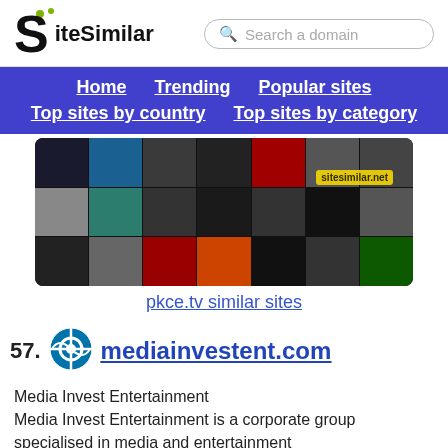[Figure (logo): SiteSimilar logo with large S and green dots]
Search a domain
Home
Trending
Popular sites
Top sites by country
Top sites by category
[Figure (screenshot): Screenshot collage of pkce.tv website with sitesimilar.net watermark]
pkce.tv similar sites
57.
[Figure (logo): WordPress circular logo icon]
mediainvestent.com
Media Invest Entertainment
Media Invest Entertainment is a corporate group specialised in media and entertainment